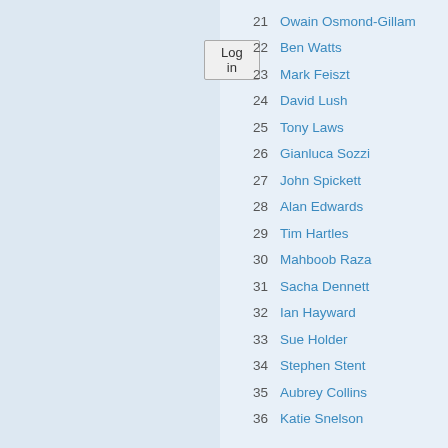[Figure (screenshot): Log in button on light blue left panel]
21  Owain Osmond-Gillam
22  Ben Watts
23  Mark Feiszt
24  David Lush
25  Tony Laws
26  Gianluca Sozzi
27  John Spickett
28  Alan Edwards
29  Tim Hartles
30  Mahboob Raza
31  Sacha Dennett
32  Ian Hayward
33  Sue Holder
34  Stephen Stent
35  Aubrey Collins
36  Katie Snelson